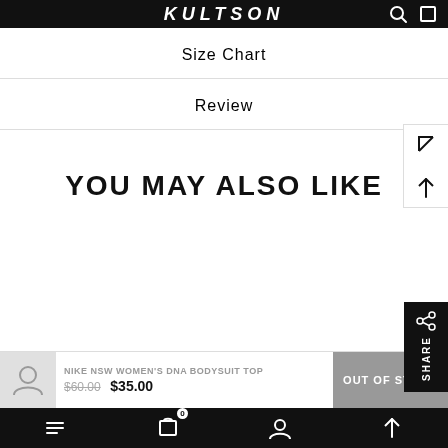KULTSON
Size Chart
Review
YOU MAY ALSO LIKE
NIKE NSW WOMEN'S DNA BODYSUIT TOP
$60.00  $35.00
OUT OF STOCK
Menu  Cart 0  Account  Up